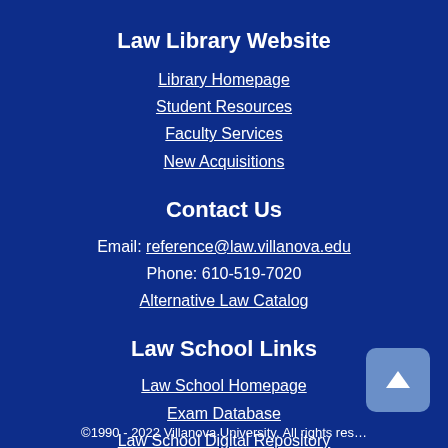Law Library Website
Library Homepage
Student Resources
Faculty Services
New Acquisitions
Contact Us
Email: reference@law.villanova.edu
Phone: 610-519-7020
Alternative Law Catalog
Law School Links
Law School Homepage
Exam Database
Law School Digital Repository
Special Collections
©1990 - 2022 Villanova University. All rights reserved.